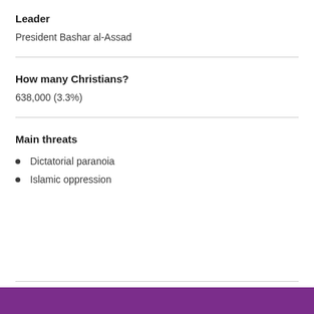Leader
President Bashar al-Assad
How many Christians?
638,000 (3.3%)
Main threats
Dictatorial paranoia
Islamic oppression